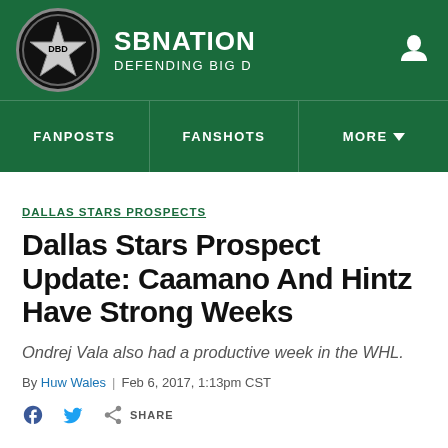SBNation / Defending Big D
DALLAS STARS PROSPECTS
Dallas Stars Prospect Update: Caamano And Hintz Have Strong Weeks
Ondrej Vala also had a productive week in the WHL.
By Huw Wales | Feb 6, 2017, 1:13pm CST